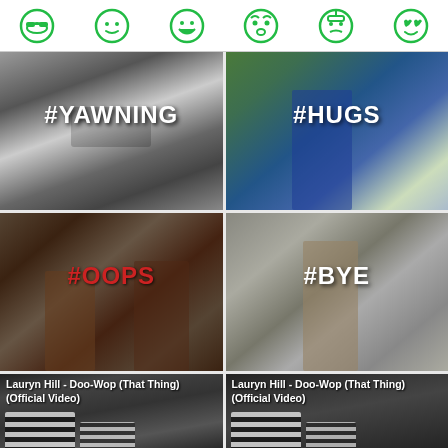[Figure (screenshot): Top navigation bar with six green emoji/emoticon icons]
[Figure (screenshot): Video thumbnail card with hashtag #YAWNING, black and white photo of a person yawning]
[Figure (screenshot): Video thumbnail card with hashtag #HUGS, colorful photo of a man in blue jacket waving]
[Figure (screenshot): Video thumbnail card with hashtag #OOPS in red, indoor scene with people at a bar]
[Figure (screenshot): Video thumbnail card with hashtag #BYE, person in tan sweatshirt in indoor scene]
[Figure (screenshot): Video clip card: Lauryn Hill - Doo-Wop (That Thing) (Official Video), 4.6 secs]
[Figure (screenshot): Video clip card: Lauryn Hill - Doo-Wop (That Thing) (Official Video), 4.8 secs]
That thing, that thing, that thing
That thing, that thing, that thing